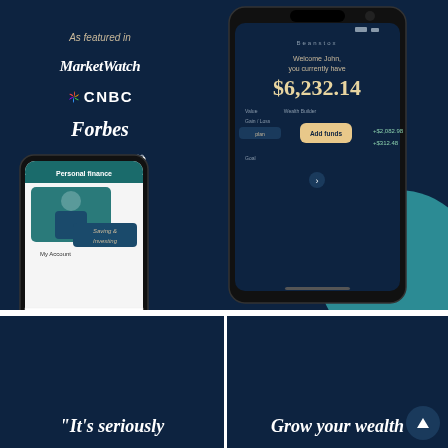As featured in
[Figure (logo): MarketWatch logo in white italic text on dark navy background]
[Figure (logo): CNBC logo with peacock icon in white on dark navy background]
[Figure (logo): Forbes logo in white italic serif font on dark navy background]
[Figure (logo): The Motley Fool logo with jester hat icon in white on dark navy background]
[Figure (screenshot): Smartphone showing Beanstox app Personal finance screen with man in suit, Saving & Investing section, My Account tab]
[Figure (screenshot): Smartphone showing Beanstox app dashboard: Welcome John, you currently have $6,232.14, Wealth Builder +$2,082.98 +$312.48, Add funds button, teal circle decoration]
"It's seriously
Grow your wealth